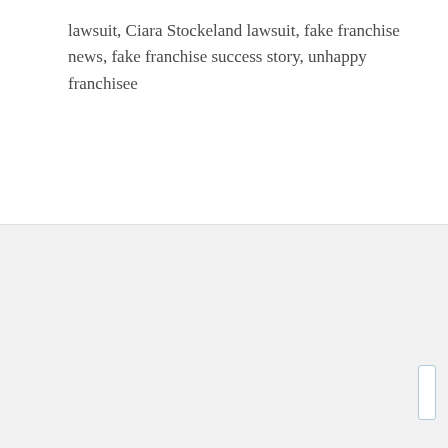lawsuit, Ciara Stockeland lawsuit, fake franchise news, fake franchise success story, unhappy franchisee